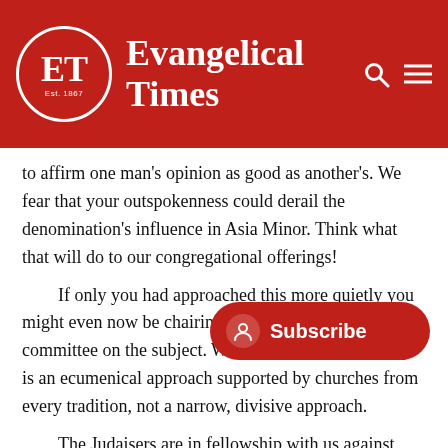[Figure (logo): Evangelical Times header with red background, ET logo in circle, and navigation icons]
to affirm one man's opinion as good as another's. We fear that your outspokenness could derail the denomination's influence in Asia Minor. Think what that will do to our congregational offerings!
If only you had approached this more quietly you might even now be chairing our standing theological committee on the subject. What is badly needed today is an ecumenical approach supported by churches from every tradition, not a narrow, divisive approach.
The Judaisers are in fellowship with us against racism, poverty, greed and militarism; we really ca[n't afford to let squabble]s over doctrinal minutiae to obscure this im[portant unity].
Regrettably, we also feel there is another issue we must draw your attention to. It is the subjects you insist in writing on. Are